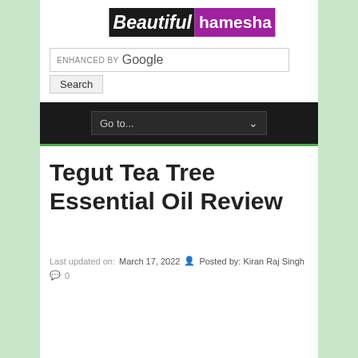[Figure (logo): Beautiful Hamesha logo — black background with italic B 'eautiful' and purple background 'hamesha' text]
ENHANCED BY Google
Search
Go to...
Tegut Tea Tree Essential Oil Review
Last updated on: March 17, 2022  Posted by: Kiran Raj Singh  0